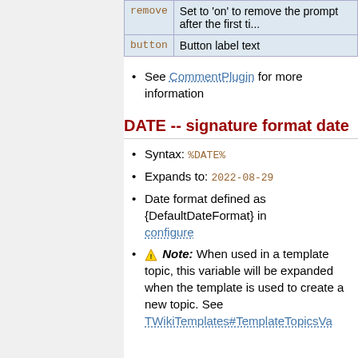| Parameter | Description |
| --- | --- |
| remove | Set to 'on' to remove the prompt after the first ti... |
| button | Button label text |
See CommentPlugin for more information
DATE -- signature format date
Syntax: %DATE%
Expands to: 2022-08-29
Date format defined as {DefaultDateFormat} in configure
Note: When used in a template topic, this variable will be expanded when the template is used to create a new topic. See TWikiTemplates#TemplateTopicsVa for details